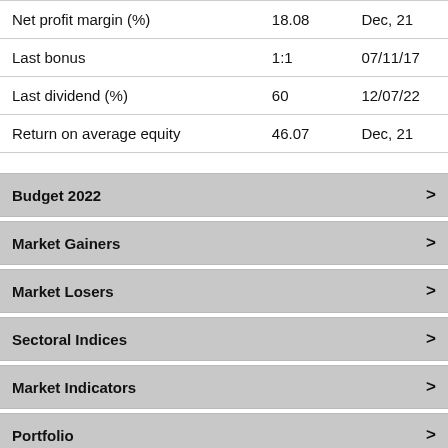|  | Value | Date |
| --- | --- | --- |
| Net profit margin (%) | 18.08 | Dec, 21 |
| Last bonus | 1:1 | 07/11/17 |
| Last dividend (%) | 60 | 12/07/22 |
| Return on average equity | 46.07 | Dec, 21 |
Budget 2022 >
Market Gainers >
Market Losers >
Sectoral Indices >
Market Indicators >
Portfolio >
Watchlist >